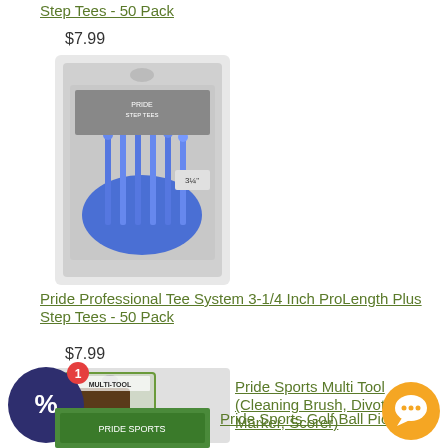Step Tees - 50 Pack
$7.99
[Figure (photo): Package of blue golf tees, Pride Professional Tee System 3-1/4 Inch ProLength Plus Step Tees 50 Pack]
Pride Professional Tee System 3-1/4 Inch ProLength Plus Step Tees - 50 Pack
$7.99
[Figure (photo): Pride Sports Multi-Tool in blister pack (Cleaning Brush, Divot, Ball Marker, Scorer)]
Pride Sports Multi Tool (Cleaning Brush, Divot, Ball Marker, Scorer)
[Figure (photo): Partial image of Pride Sports Golf Ball Pick-Up product packaging]
Pride Sports Golf Ball Pick-Up